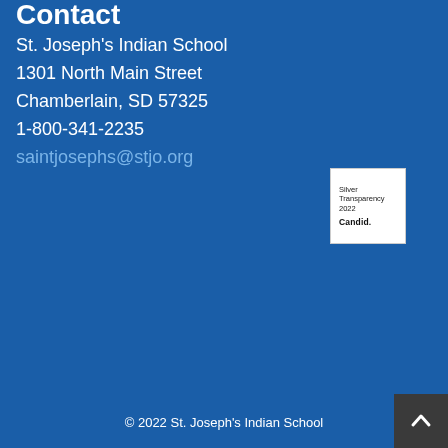Contact
St. Joseph's Indian School
1301 North Main Street
Chamberlain, SD 57325
1-800-341-2235
saintjosephs@stjo.org
[Figure (logo): Candid Silver Transparency 2022 badge - white rectangle with text 'Silver Transparency 2022' and 'Candid.' in bold]
© 2022 St. Joseph's Indian School